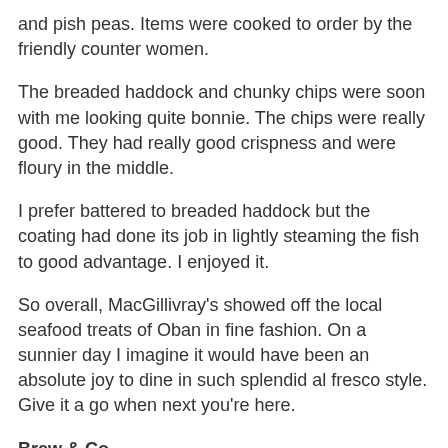and pish peas. Items were cooked to order by the friendly counter women.
The breaded haddock and chunky chips were soon with me looking quite bonnie. The chips were really good. They had really good crispness and were floury in the middle.
I prefer battered to breaded haddock but the coating had done its job in lightly steaming the fish to good advantage. I enjoyed it.
So overall, MacGillivray's showed off the local seafood treats of Oban in fine fashion. On a sunnier day I imagine it would have been an absolute joy to dine in such splendid al fresco style. Give it a go when next you're here.
Brew & Co
I didn't particularly hold out much hope of good coffee on my jaunt to the west coast as I dutifully packed my